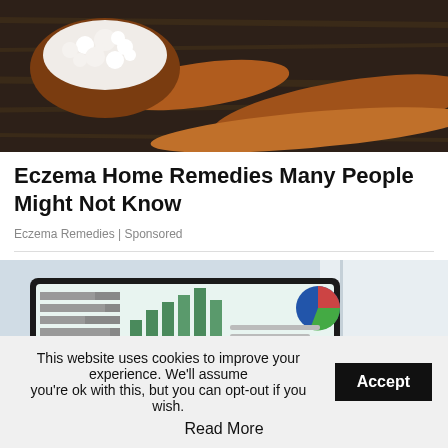[Figure (photo): Wooden spoon with white cottage cheese or ricotta, on a dark rustic wooden surface]
Eczema Home Remedies Many People Might Not Know
Eczema Remedies | Sponsored
[Figure (photo): Tablet or laptop screen showing business data charts including bar charts, pie charts, and line graphs, held by a person near a window]
This website uses cookies to improve your experience. We'll assume you're ok with this, but you can opt-out if you wish.
Accept
Read More